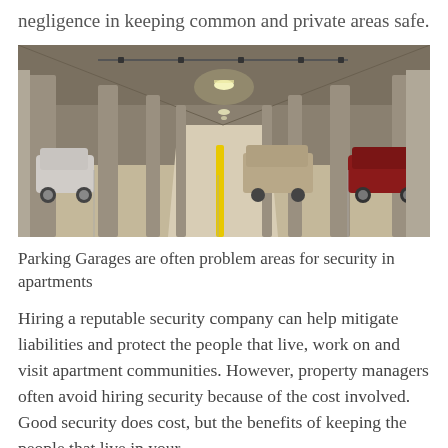negligence in keeping common and private areas safe.
[Figure (photo): Interior of a parking garage with concrete columns, fluorescent lighting, and a few cars parked along the sides. The garage has a wide central lane extending into the distance.]
Parking Garages are often problem areas for security in apartments
Hiring a reputable security company can help mitigate liabilities and protect the people that live, work on and visit apartment communities. However, property managers often avoid hiring security because of the cost involved. Good security does cost, but the benefits of keeping the people that live in your